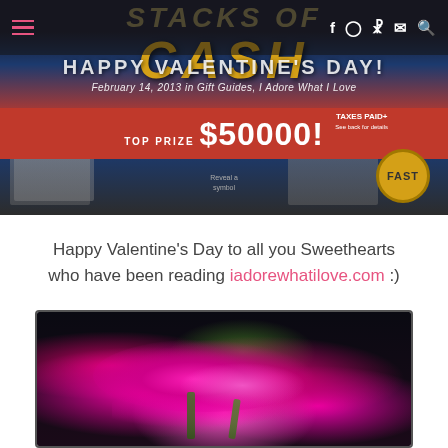[Figure (screenshot): Blog header with navigation bar (hamburger menu and social icons), overlaid title 'HAPPY VALENTINE'S DAY!' and date line, over a lottery scratch ticket image showing 'STACKS OF CASH', 'TOP PRIZE $50000!', 'TAXES PAID', 'FAST' badge]
HAPPY VALENTINE'S DAY!
February 14, 2013 in Gift Guides, I Adore What I Love
Happy Valentine's Day to all you Sweethearts who have been reading iadorewhatilove.com :)
[Figure (photo): Close-up photo of bright pink/magenta roses with green stems against a dark background]